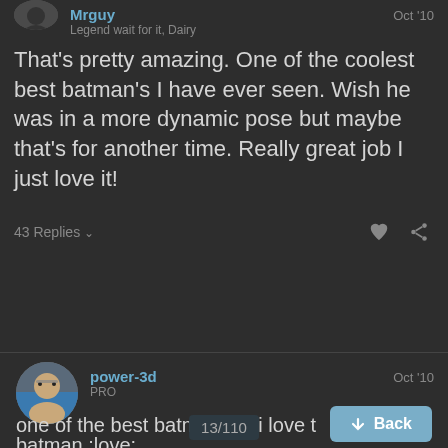[Figure (photo): Small avatar image at top left, partially visible, dark silhouette]
Mrguy
Legend wait for it, Dairy
Oct '10
That's pretty amazing. One of the coolest best batman's I have ever seen. Wish he was in a more dynamic pose but maybe that's for another time. Really great job I just love it!
43 Replies ↓
[Figure (photo): Circular avatar photo of a person with glasses]
power-3d
PRO
Oct '10
one of the best batmans ... i love that batman :love:
13/110